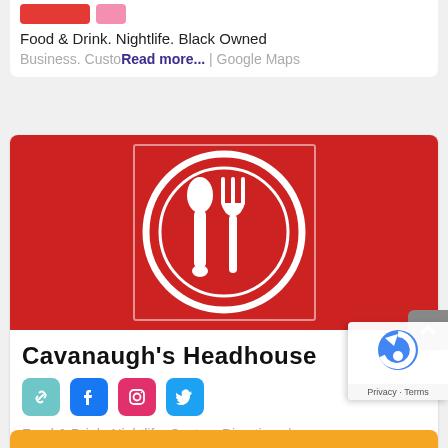Food & Drink. Nightlife. Black Owned Business. Custom...
Read more... | Google Maps
[Figure (logo): Restaurant logo on red background: white circle with spoon and fork silhouettes]
Cavanaugh's Headhouse
[Figure (infographic): Social media icons: link/chain icon (teal), Facebook (blue), Instagram (pink), Twitter (blue)]
Food & Drink. Nightlife. Custom Directions | Google Maps
Read more...